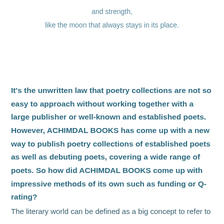and strength,
like the moon that always stays in its place.
It’s the unwritten law that poetry collections are not so easy to approach without working together with a large publisher or well-known and established poets. However, ACHIMDAL BOOKS has come up with a new way to publish poetry collections of established poets as well as debuting poets, covering a wide range of poets. So how did ACHIMDAL BOOKS come up with impressive methods of its own such as funding or Q-rating?
The literary world can be defined as a big concept to refer to